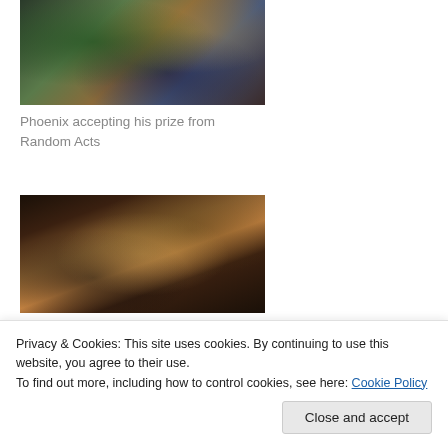[Figure (photo): Photo of Phoenix accepting his prize at an event, showing a display table with green tablecloth and various items]
Phoenix accepting his prize from Random Acts
[Figure (photo): Photo of people standing in a hallway or convention space with warm lighting]
[Figure (photo): Partial photo at bottom, dark image]
Privacy & Cookies: This site uses cookies. By continuing to use this website, you agree to their use.
To find out more, including how to control cookies, see here: Cookie Policy
Close and accept